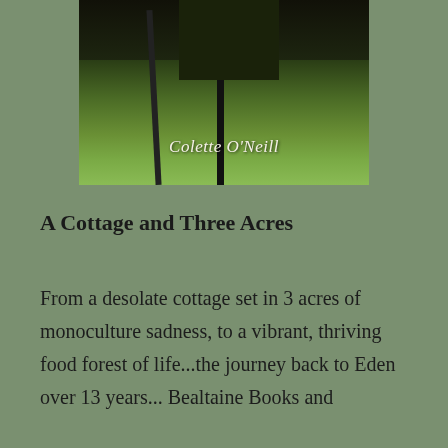[Figure (photo): Book cover photo showing a black pot or planting container on a pole/stand against a lush green grassy background, with the author name 'Colette O'Neill' written in white italic script overlay at the bottom center of the image.]
A Cottage and Three Acres
From a desolate cottage set in 3 acres of monoculture sadness, to a vibrant, thriving food forest of life...the journey back to Eden over 13 years... Bealtaine Books and